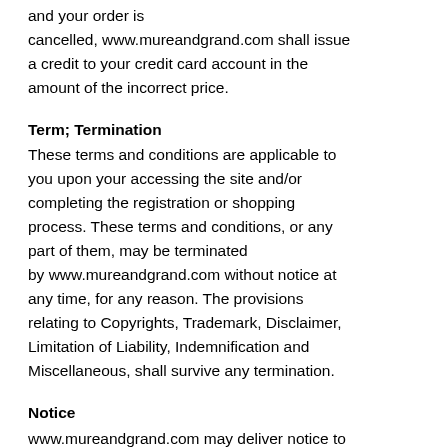and your order is cancelled, www.mureandgrand.com shall issue a credit to your credit card account in the amount of the incorrect price.
Term; Termination
These terms and conditions are applicable to you upon your accessing the site and/or completing the registration or shopping process. These terms and conditions, or any part of them, may be terminated by www.mureandgrand.com without notice at any time, for any reason. The provisions relating to Copyrights, Trademark, Disclaimer, Limitation of Liability, Indemnification and Miscellaneous, shall survive any termination.
Notice
www.mureandgrand.com may deliver notice to